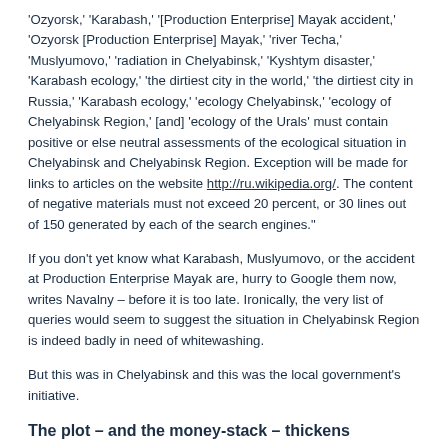'Ozyorsk,' 'Karabash,' '[Production Enterprise] Mayak accident,' 'Ozyorsk [Production Enterprise] Mayak,' 'river Techa,' 'Muslyumovo,' 'radiation in Chelyabinsk,' 'Kyshtym disaster,' 'Karabash ecology,' 'the dirtiest city in the world,' 'the dirtiest city in Russia,' 'Karabash ecology,' 'ecology Chelyabinsk,' 'ecology of Chelyabinsk Region,' [and] 'ecology of the Urals' must contain positive or else neutral assessments of the ecological situation in Chelyabinsk and Chelyabinsk Region. Exception will be made for links to articles on the website http://ru.wikipedia.org/. The content of negative materials must not exceed 20 percent, or 30 lines out of 150 generated by each of the search engines."
If you don't yet know what Karabash, Muslyumovo, or the accident at Production Enterprise Mayak are, hurry to Google them now, writes Navalny – before it is too late. Ironically, the very list of queries would seem to suggest the situation in Chelyabinsk Region is indeed badly in need of whitewashing.
But this was in Chelyabinsk and this was the local government's initiative.
The plot – and the money-stack – thickens